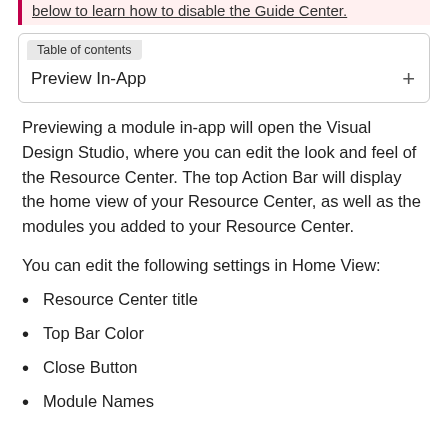below to learn how to disable the Guide Center.
Table of contents
Preview In-App
Previewing a module in-app will open the Visual Design Studio, where you can edit the look and feel of the Resource Center. The top Action Bar will display the home view of your Resource Center, as well as the modules you added to your Resource Center.
You can edit the following settings in Home View:
Resource Center title
Top Bar Color
Close Button
Module Names